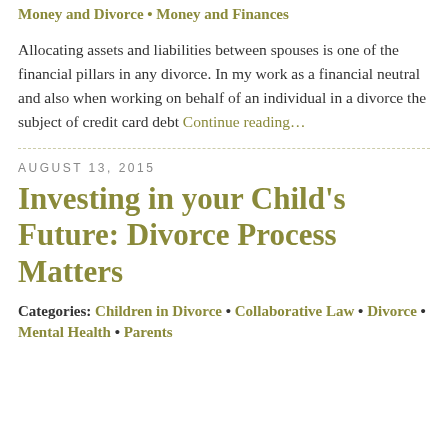Categories: Divorce • Finances and Divorce • Money and Divorce • Money and Finances
Allocating assets and liabilities between spouses is one of the financial pillars in any divorce. In my work as a financial neutral and also when working on behalf of an individual in a divorce the subject of credit card debt Continue reading…
AUGUST 13, 2015
Investing in your Child's Future: Divorce Process Matters
Categories: Children in Divorce • Collaborative Law • Divorce • Mental Health • Parents